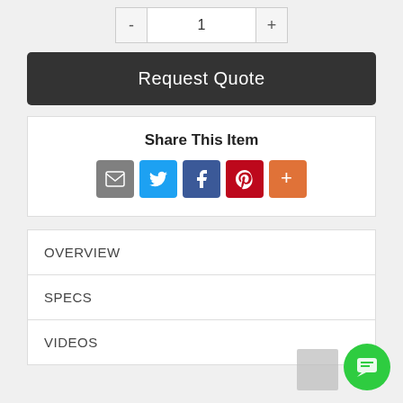[Figure (other): Quantity selector with minus button, input showing 1, and plus button]
[Figure (other): Dark rounded Request Quote button]
Share This Item
[Figure (other): Social share icons: email (gray), Twitter (blue), Facebook (dark blue), Pinterest (red), More (orange)]
OVERVIEW
SPECS
VIDEOS